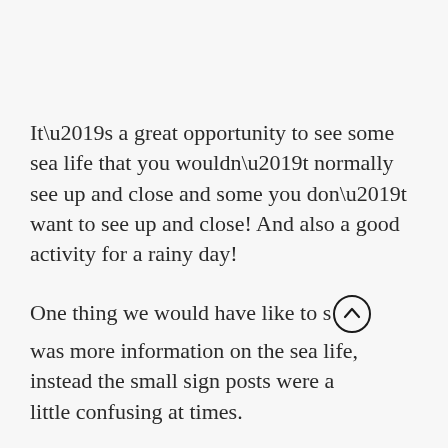It’s a great opportunity to see some sea life that you wouldn’t normally see up and close and some you don’t want to see up and close! And also a good activity for a rainy day!
One thing we would have like to s[ee] was more information on the sea life, instead the small sign posts were a little confusing at times.